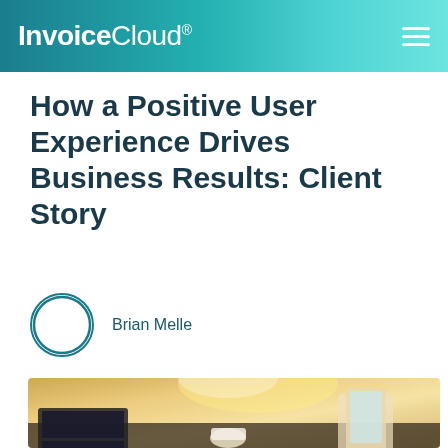InvoiceCloud®
How a Positive User Experience Drives Business Results: Client Story
Brian Melle
[Figure (photo): Person at desk working on laptop while holding a smartphone, with a cup of coffee nearby, warm sunlit office background]